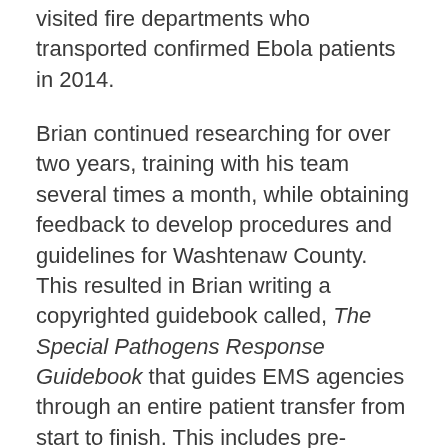visited fire departments who transported confirmed Ebola patients in 2014.
Brian continued researching for over two years, training with his team several times a month, while obtaining feedback to develop procedures and guidelines for Washtenaw County. This resulted in Brian writing a copyrighted guidebook called, The Special Pathogens Response Guidebook that guides EMS agencies through an entire patient transfer from start to finish. This includes pre-incident planning, donning and doffing, patient transfer, communications, hand off, waste disposal, disinfection, and emergency procedures. In addition to writing the response guidebook for EMS, Brian worked with his team and the local treatment center to create a custom designed Highly Infectious Disease Unit (ambulance) that